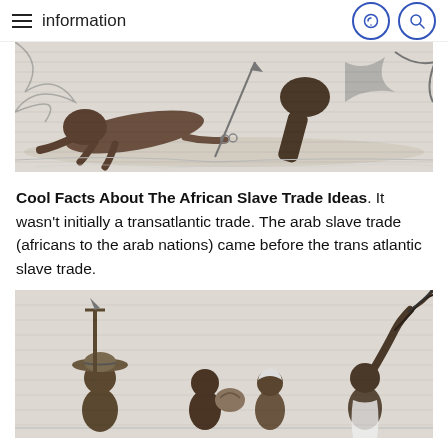information
[Figure (illustration): Historical engraving showing enslaved people being captured or restrained on the ground, with figures in conflict]
Cool Facts About The African Slave Trade Ideas. It wasn't initially a transatlantic trade. The arab slave trade (africans to the arab nations) came before the trans atlantic slave trade.
[Figure (illustration): Historical engraving showing enslaved people with a person holding a whip raised overhead and a figure with a hat holding a pole/lance]